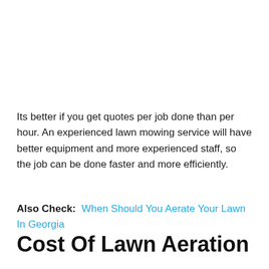Its better if you get quotes per job done than per hour. An experienced lawn mowing service will have better equipment and more experienced staff, so the job can be done faster and more efficiently.
Also Check:  When Should You Aerate Your Lawn In Georgia
Cost Of Lawn Aeration